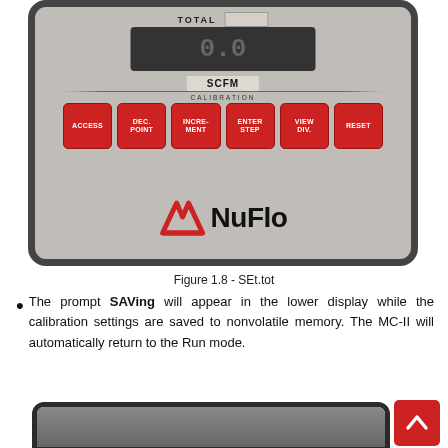[Figure (photo): Photo of a NuFlo MC-II device panel showing digital display reading 0.0, SCFM label, CALIBRATION section with six red buttons labeled ACCESS, DEC. POINT, INCRE-MENT, ENTER STEP, VIEW DIV., RESET, and the NuFlo logo with stylized N logo mark.]
Figure 1.8 - SEt.tot
The prompt SAVing will appear in the lower display while the calibration settings are saved to nonvolatile memory. The MC-II will automatically return to the Run mode.
[Figure (photo): Bottom portion of a NuFlo device, showing the dark rounded bezel of the unit, partially cropped.]